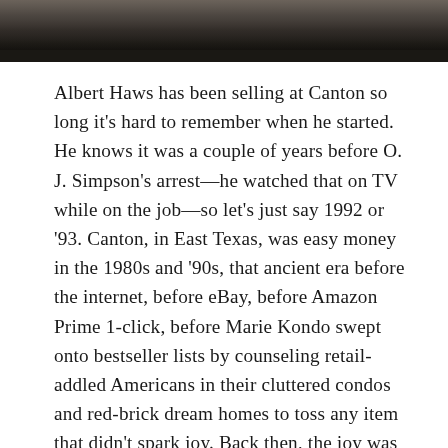[Figure (photo): Blurred photograph showing an indoor scene, appearing dark at the bottom with lighter tones at top, transitioning into a dark horizontal bar]
Albert Haws has been selling at Canton so long it’s hard to remember when he started. He knows it was a couple of years before O. J. Simpson’s arrest—he watched that on TV while on the job—so let’s just say 1992 or ’93. Canton, in East Texas, was easy money in the 1980s and ’90s, that ancient era before the internet, before eBay, before Amazon Prime 1-click, before Marie Kondo swept onto bestseller lists by counseling retail-addled Americans in their cluttered condos and red-brick dream homes to toss any item that didn’t spark joy. Back then, the joy was acquisition, the thrill of the hunt.